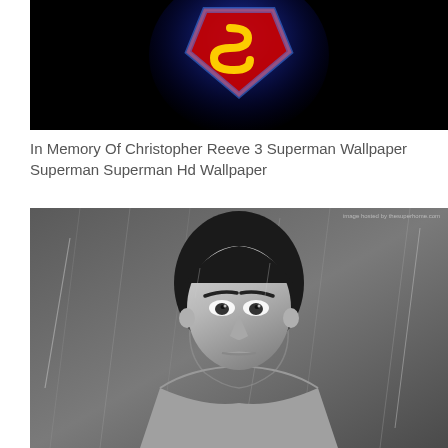[Figure (photo): Superman logo/shield glowing in red, yellow and blue on a black background]
In Memory Of Christopher Reeve 3 Superman Wallpaper Superman Superman Hd Wallpaper
[Figure (photo): Black and white dramatic portrait of a Superman actor (Henry Cavill) looking intensely at camera in the rain, shirtless, with rain streaks in background. Watermark: image hosted by thesuperhome.com]